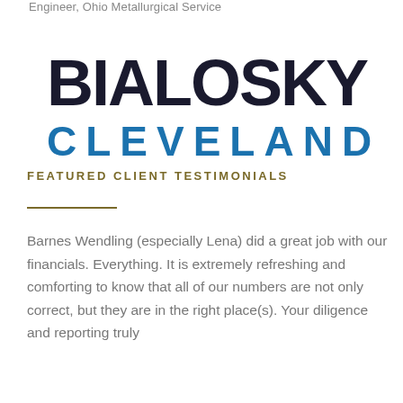Engineer, Ohio Metallurgical Service
BIALOSKY
CLEVELAND
FEATURED CLIENT TESTIMONIALS
Barnes Wendling (especially Lena) did a great job with our financials. Everything. It is extremely refreshing and comforting to know that all of our numbers are not only correct, but they are in the right place(s). Your diligence and reporting truly